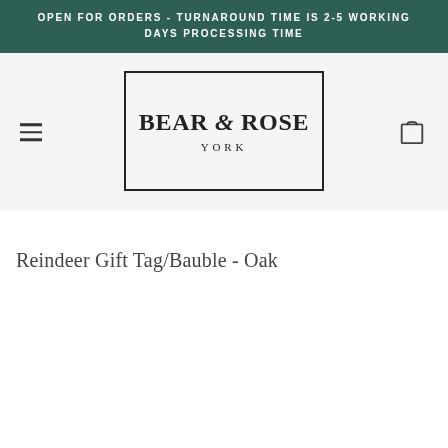OPEN FOR ORDERS - TURNAROUND TIME IS 2-5 WORKING DAYS PROCESSING TIME
[Figure (logo): Bear & Rose York logo inside a rectangular border, with hamburger menu icon on the left and shopping bag icon on the right]
Reindeer Gift Tag/Bauble - Oak